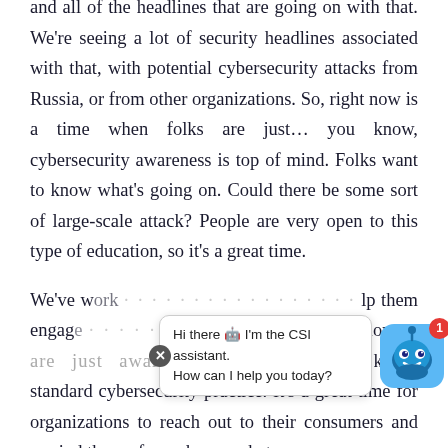and all of the headlines that are going on with that. We're seeing a lot of security headlines associated with that, with potential cybersecurity attacks from Russia, or from other organizations. So, right now is a time when folks are just… you know, cybersecurity awareness is top of mind. Folks want to know what's going on. Could there be some sort of large-scale attack? People are very open to this type of education, so it's a great time.
We've work [obscured by chat widget] lp them engag [obscured] e t their employees are just aware and following, you know, standard cybersecurity practice. It's a great time for organizations to reach out to their consumers and remind them of, you know, what
[Figure (other): Chat widget overlay showing a robot assistant icon with a notification badge showing '1', and a speech bubble saying 'Hi there 🤖 I'm the CSI assistant. How can I help you today?' with a close button (X icon) on the left side of the bubble.]